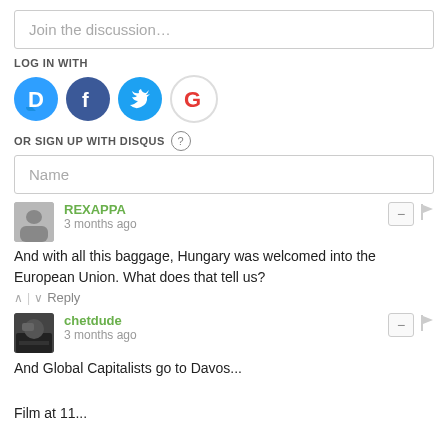Join the discussion…
LOG IN WITH
[Figure (logo): Social login icons: Disqus (blue circle with D), Facebook (dark blue circle with f), Twitter (light blue circle with bird), Google (white circle with G)]
OR SIGN UP WITH DISQUS ?
Name
REXAPPA
3 months ago
And with all this baggage, Hungary was welcomed into the European Union. What does that tell us?
^ | v  Reply
[Figure (photo): Small avatar thumbnail photo for user chetdude]
chetdude
3 months ago
And Global Capitalists go to Davos...

Film at 11...